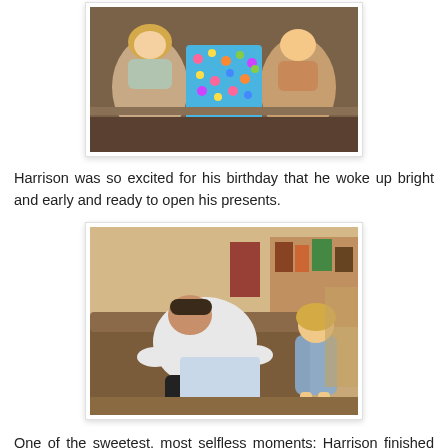[Figure (photo): Overhead view of two children on a brown couch, one on left and one on right, with a colorful wrapped birthday present in the middle.]
Harrison was so excited for his birthday that he woke up bright and early and ready to open his presents.
[Figure (photo): Indoor photo of an adult male bending over a brown couch, with a young blonde girl standing to his right, apparently helping open gifts.]
One of the sweetest, most selfless moments: Harrison finished opening his gifts and with the same excitement he had for his own gifts, handed Matt his Father's Day gift and excitedly said "now it's your turn dad!" He forgot about his own gifts, that he had opened